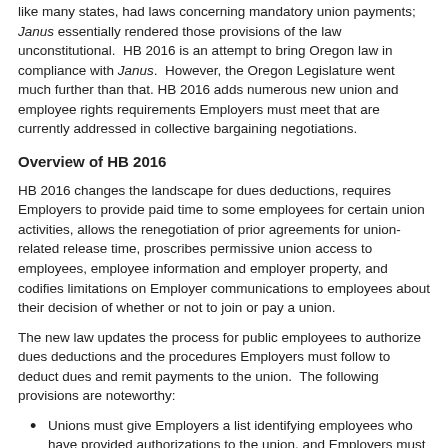like many states, had laws concerning mandatory union payments; Janus essentially rendered those provisions of the law unconstitutional.  HB 2016 is an attempt to bring Oregon law in compliance with Janus.  However, the Oregon Legislature went much further than that. HB 2016 adds numerous new union and employee rights requirements Employers must meet that are currently addressed in collective bargaining negotiations.
Overview of HB 2016
HB 2016 changes the landscape for dues deductions, requires Employers to provide paid time to some employees for certain union activities, allows the renegotiation of prior agreements for union-related release time, proscribes permissive union access to employees, employee information and employer property, and codifies limitations on Employer communications to employees about their decision of whether or not to join or pay a union.
The new law updates the process for public employees to authorize dues deductions and the procedures Employers must follow to deduct dues and remit payments to the union.  The following provisions are noteworthy:
Unions must give Employers a list identifying employees who have provided authorizations to the union, and Employers must rely on the union's list to make the authorized dues deductions and remit payment to the union;